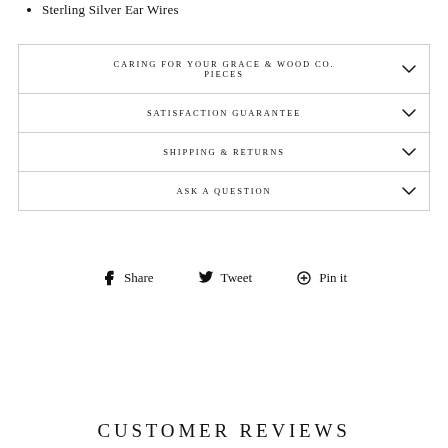Sterling Silver Ear Wires
CARING FOR YOUR GRACE & WOOD CO. PIECES
SATISFACTION GUARANTEE
SHIPPING & RETURNS
ASK A QUESTION
Share  Tweet  Pin it
CUSTOMER REVIEWS